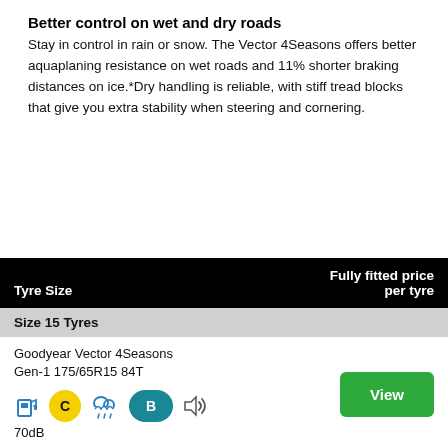Better control on wet and dry roads
Stay in control in rain or snow. The Vector 4Seasons offers better aquaplaning resistance on wet roads and 11% shorter braking distances on ice.*Dry handling is reliable, with stiff tread blocks that give you extra stability when steering and cornering.
| Tyre Size | Fully fitted price per tyre |
| --- | --- |
| Size 15 Tyres |  |
| Goodyear Vector 4Seasons Gen-1 175/65R15 84T [C][B] 70dB | View |